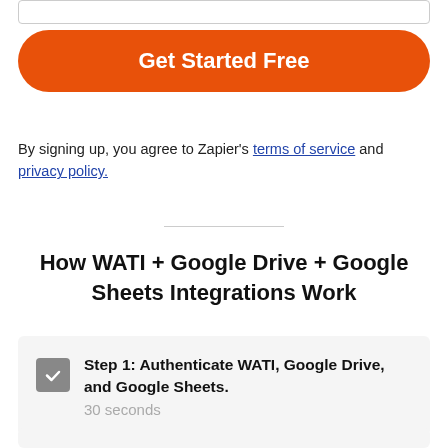[Figure (other): Input text field (partially visible at top)]
Get Started Free
By signing up, you agree to Zapier's terms of service and privacy policy.
How WATI + Google Drive + Google Sheets Integrations Work
Step 1: Authenticate WATI, Google Drive, and Google Sheets. 30 seconds